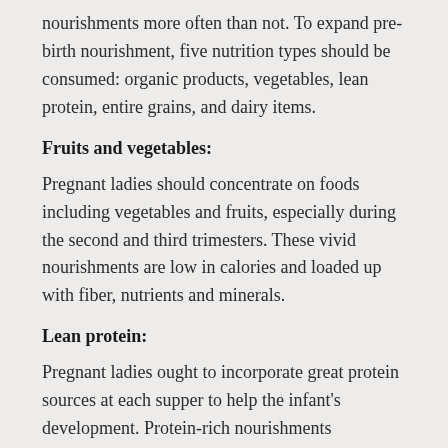nourishments more often than not. To expand pre-birth nourishment, five nutrition types should be consumed: organic products, vegetables, lean protein, entire grains, and dairy items.
Fruits and vegetables:
Pregnant ladies should concentrate on foods including vegetables and fruits, especially during the second and third trimesters. These vivid nourishments are low in calories and loaded up with fiber, nutrients and minerals.
Lean protein:
Pregnant ladies ought to incorporate great protein sources at each supper to help the infant's development. Protein-rich nourishments incorporate meat, poultry, fish, eggs, beans, tofu, cheddar, milk,